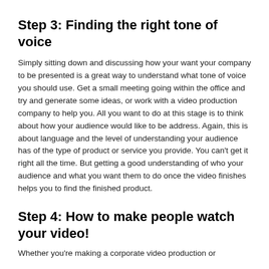Step 3: Finding the right tone of voice
Simply sitting down and discussing how your want your company to be presented is a great way to understand what tone of voice you should use. Get a small meeting going within the office and try and generate some ideas, or work with a video production company to help you. All you want to do at this stage is to think about how your audience would like to be address. Again, this is about language and the level of understanding your audience has of the type of product or service you provide. You can't get it right all the time. But getting a good understanding of who your audience and what you want them to do once the video finishes helps you to find the finished product.
Step 4: How to make people watch your video!
Whether you're making a corporate video production or